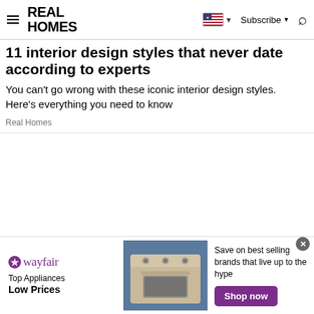Real Homes | Subscribe | Search
11 interior design styles that never date according to experts
You can't go wrong with these iconic interior design styles. Here's everything you need to know
Real Homes
[Figure (screenshot): Wayfair advertisement banner: Top Appliances Low Prices, image of a stove, Save on best selling brands that live up to the hype, Shop now button]